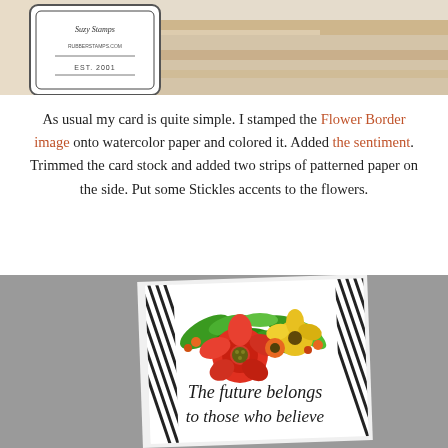[Figure (photo): Top photo showing a Suzy Stamps branded image (Est. 2001 logo on left) with a birch log or wood surface on the right, in a light tan/orange coloring.]
As usual my card is quite simple. I stamped the Flower Border image onto watercolor paper and colored it. Added the sentiment. Trimmed the card stock and added two strips of patterned paper on the side. Put some Stickles accents to the flowers.
[Figure (photo): Bottom photo showing a handmade greeting card with a colorful flower border (red, orange, yellow flowers with green leaves) at the top, diagonal black and white striped borders on the sides, and italic script text reading 'The future belongs to those who believe' on white card stock, displayed at a slight angle on a gray background.]